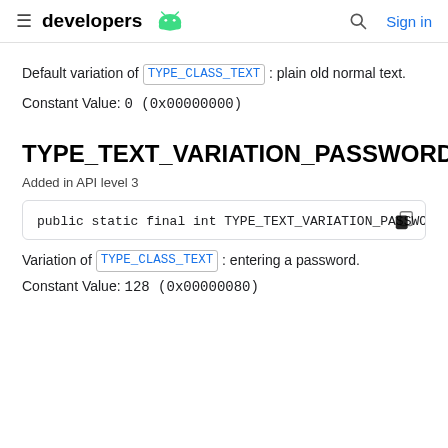developers [android icon] | Search | Sign in
Default variation of TYPE_CLASS_TEXT: plain old normal text.
Constant Value: 0 (0x00000000)
TYPE_TEXT_VARIATION_PASSWORD
Added in API level 3
[Figure (screenshot): Code block showing: public static final int TYPE_TEXT_VARIATION_PASSWORD]
Variation of TYPE_CLASS_TEXT: entering a password.
Constant Value: 128 (0x00000080)